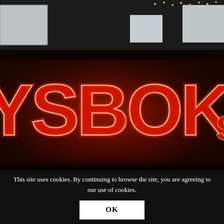[Figure (photo): Close-up photograph of illuminated neon sign letters reading 'YSSBOKS' (partial), glowing in red and yellow/white on a dark background. Upper portion shows a dark building exterior with string lights visible.]
This site uses cookies. By continuing to browse the site, you are agreeing to our use of cookies.
OK